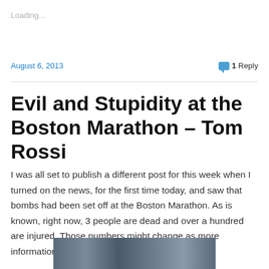Loading...
August 6, 2013
1 Reply
Evil and Stupidity at the Boston Marathon – Tom Rossi
I was all set to publish a different post for this week when I turned on the news, for the first time today, and saw that bombs had been set off at the Boston Marathon. As is known, right now, 3 people are dead and over a hundred are injured. Those numbers might change as more information comes in.
[Figure (photo): Photo strip of Boston Marathon scene]